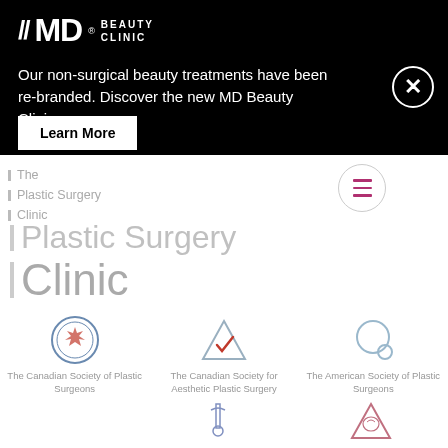[Figure (logo): //MD Beauty Clinic logo in white on black background]
Our non-surgical beauty treatments have been re-branded. Discover the new MD Beauty Clinic.
Learn More
[Figure (logo): The Plastic Surgery Clinic navigation header with hamburger menu]
Plastic Surgery Clinic
[Figure (logo): The Canadian Society of Plastic Surgeons logo]
The Canadian Society of Plastic Surgeons
[Figure (logo): The Canadian Society for Aesthetic Plastic Surgery logo]
The Canadian Society for Aesthetic Plastic Surgery
[Figure (logo): The American Society of Plastic Surgeons logo]
The American Society of Plastic Surgeons
[Figure (logo): The International Society of Aesthetic logo]
The International Society of Aesthetic
[Figure (logo): American Society of Aesthetic Plastic logo]
American Society of Aesthetic Plastic